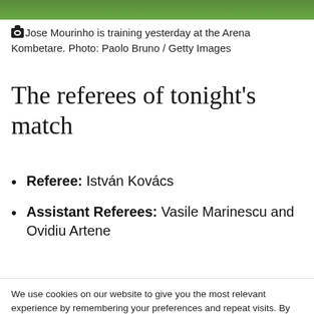[Figure (photo): Green photo strip at top of page (cropped photo of Jose Mourinho at the Arena Kombetare)]
Jose Mourinho is training yesterday at the Arena Kombetare. Photo: Paolo Bruno / Getty Images
The referees of tonight's match
Referee: István Kovács
Assistant Referees: Vasile Marinescu and Ovidiu Artene
We use cookies on our website to give you the most relevant experience by remembering your preferences and repeat visits. By clicking “Accept All”, you consent to the use of ALL the cookies. However, you may visit "Cookie Settings" to provide a controlled consent.